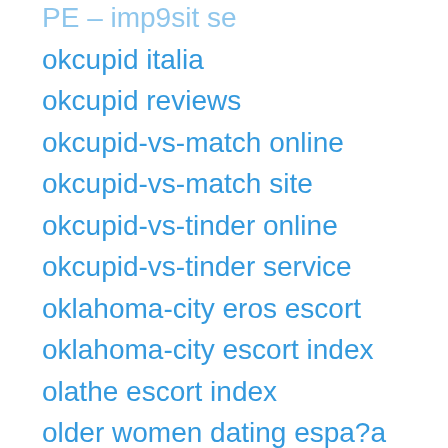PE – imp9sit se
okcupid italia
okcupid reviews
okcupid-vs-match online
okcupid-vs-match site
okcupid-vs-tinder online
okcupid-vs-tinder service
oklahoma-city eros escort
oklahoma-city escort index
olathe escort index
older women dating espa?a
older women dating reviews
omaha eros escort
omaha escort directory
omaha escort index